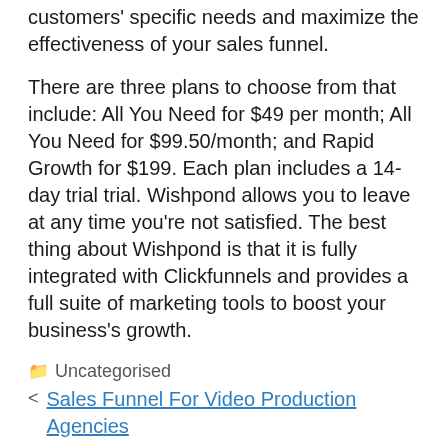customers' specific needs and maximize the effectiveness of your sales funnel.
There are three plans to choose from that include: All You Need for $49 per month; All You Need for $99.50/month; and Rapid Growth for $199. Each plan includes a 14-day trial trial. Wishpond allows you to leave at any time you're not satisfied. The best thing about Wishpond is that it is fully integrated with Clickfunnels and provides a full suite of marketing tools to boost your business's growth.
Uncategorised
< Sales Funnel For Video Production Agencies